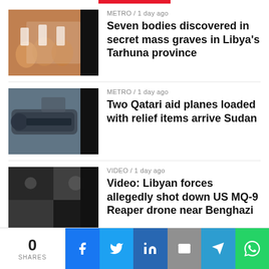METRO / 1 day ago — Seven bodies discovered in secret mass graves in Libya's Tarhuna province
METRO / 1 day ago — Two Qatari aid planes loaded with relief items arrive Sudan
VIDEO / 1 day ago — Video: Libyan forces allegedly shot down US MQ-9 Reaper drone near Benghazi
METRO / 2 days ago — Families gather to identify deceased after deadly protest in Sierra Leone
0 SHARES | Facebook | Twitter | LinkedIn | Email | Telegram | WhatsApp